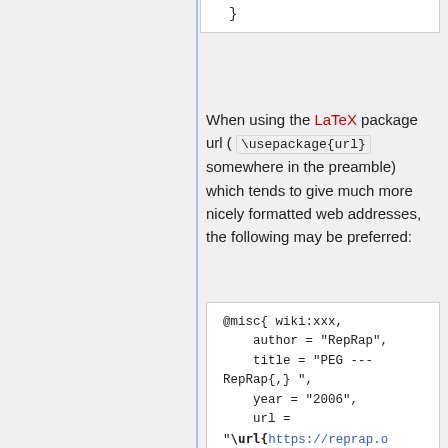}
When using the LaTeX package url ( \usepackage{url} somewhere in the preamble) which tends to give much more nicely formatted web addresses, the following may be preferred:
@misc{ wiki:xxx,
    author = "RepRap",
    title = "PEG ---RepRap{,} ",
    year = "2006",
    url = "\url{https://reprap.org/mediawiki/index.php?title=PEG&oldid=9567}",